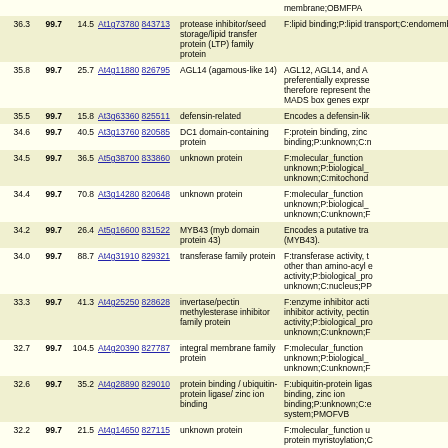| Score | Pct | N | Gene links | Description | Annotation |
| --- | --- | --- | --- | --- | --- |
|  |  |  |  | membrane;OBMFPA |  |
| 36.3 | 99.7 | 14.5 | At1g73780 843713 | protease inhibitor/seed storage/lipid transfer protein (LTP) family protein | F:lipid binding;P:lipid transport;C:endomemb |
| 35.8 | 99.7 | 25.7 | At4g11880 826795 | AGL14 (agamous-like 14) | AGL12, AGL14, and Al preferentially expresse therefore represent the MADS box genes expr |
| 35.5 | 99.7 | 15.8 | At3g63360 825511 | defensin-related | Encodes a defensin-lik |
| 34.6 | 99.7 | 40.5 | At3g13760 820585 | DC1 domain-containing protein | F:protein binding, zinc binding;P:unknown;C:n |
| 34.5 | 99.7 | 36.5 | At5g38700 833860 | unknown protein | F:molecular_function unknown;P:biological_ unknown;C:mitochond |
| 34.4 | 99.7 | 70.8 | At3g14280 820648 | unknown protein | F:molecular_function unknown;P:biological_ unknown;C:unknown;F |
| 34.2 | 99.7 | 26.4 | At5g16600 831522 | MYB43 (myb domain protein 43) | Encodes a putative tra (MYB43). |
| 34.0 | 99.7 | 88.7 | At4g31910 829321 | transferase family protein | F:transferase activity, t other than amino-acyl e activity;P:biological_pro unknown;C:nucleus;PP |
| 33.3 | 99.7 | 41.3 | At4g25250 828628 | invertase/pectin methylesterase inhibitor family protein | F:enzyme inhibitor acti inhibitor activity, pectin activity;P:biological_pro unknown;C:unknown;F |
| 32.7 | 99.7 | 104.5 | At4g20390 827787 | integral membrane family protein | F:molecular_function unknown;P:biological_ unknown;C:unknown;F |
| 32.6 | 99.7 | 35.2 | At4g28890 829010 | protein binding / ubiquitin-protein ligase/ zinc ion binding | F:ubiquitin-protein ligas binding, zinc ion binding;P:unknown;C:e system;PMOFVB |
| 32.2 | 99.7 | 21.5 | At4g14650 827115 | unknown protein | F:molecular_function u protein myristoylation;C |